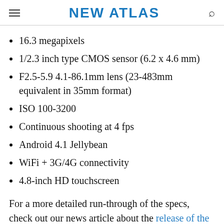NEW ATLAS
16.3 megapixels
1/2.3 inch type CMOS sensor (6.2 x 4.6 mm)
F2.5-5.9 4.1-86.1mm lens (23-483mm equivalent in 35mm format)
ISO 100-3200
Continuous shooting at 4 fps
Android 4.1 Jellybean
WiFi + 3G/4G connectivity
4.8-inch HD touchscreen
For a more detailed run-through of the specs, check out our news article about the release of the camera.
[Figure (other): CVS pharmacy advertisement banner: Shop A Variety Of High Quality Photo Products At CVS Today]
Desi